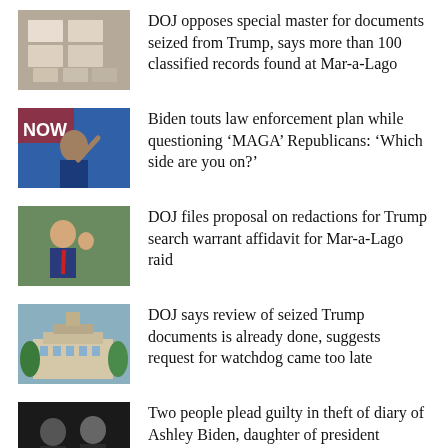[Figure (photo): Stacked boxes/documents photo, likely Mar-a-Lago evidence]
DOJ opposes special master for documents seized from Trump, says more than 100 classified records found at Mar-a-Lago
[Figure (photo): President Biden speaking at a podium, pointing finger upward]
Biden touts law enforcement plan while questioning ‘MAGA’ Republicans: ‘Which side are you on?’
[Figure (photo): Donald Trump waving, wearing suit with red tie]
DOJ files proposal on redactions for Trump search warrant affidavit for Mar-a-Lago raid
[Figure (photo): Mar-a-Lago estate building exterior with palm trees]
DOJ says review of seized Trump documents is already done, suggests request for watchdog came too late
[Figure (photo): Two people in dark clothing, faces partially obscured]
Two people plead guilty in theft of diary of Ashley Biden, daughter of president